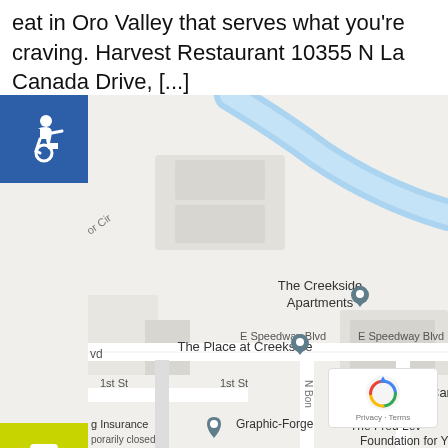eat in Oro Valley that serves what you're craving. Harvest Restaurant 10355 N La Canada Drive, [...]
[Figure (map): Google Maps screenshot showing The Creekside Apartments, The Place at Creekside, E Speedway Blvd, Care Search, Graphic-Forge, The Fred Lev... Foundation for Youth, with a blue river/wash running diagonally, and map icons for locations. Side panel shows accessibility, phone, mobile, and clipboard icons.]